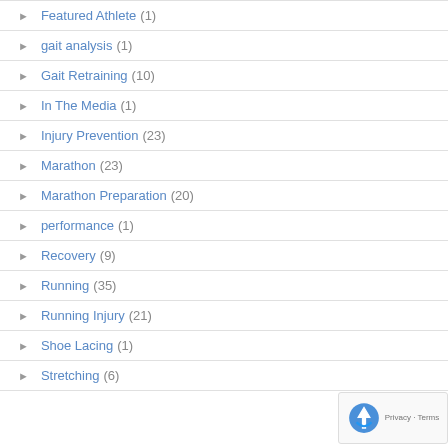Featured Athlete (1)
gait analysis (1)
Gait Retraining (10)
In The Media (1)
Injury Prevention (23)
Marathon (23)
Marathon Preparation (20)
performance (1)
Recovery (9)
Running (35)
Running Injury (21)
Shoe Lacing (1)
Stretching (6)